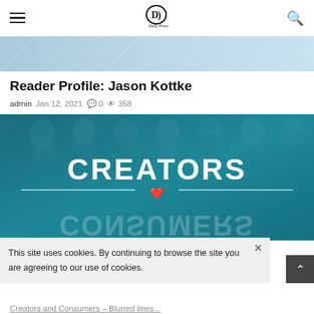Daily Press — navigation header with hamburger menu, logo, and search icon
[Figure (photo): Top banner decorative image with light blue geometric pattern]
Reader Profile: Jason Kottke
admin  Jan 12, 2021  💬 0  👁 358
[Figure (photo): Creators and Consumers graphic — teal background with stylized face silhouettes, bold white text CREATORS above a divider with heart icon, and mirrored CONSUMERS text below]
This site uses cookies. By continuing to browse the site you are agreeing to our use of cookies.
Creators and Consumers – Blurred lines...